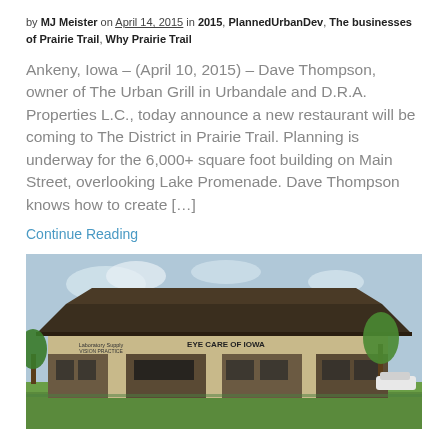by MJ Meister on April 14, 2015 in 2015, PlannedUrbanDev, The businesses of Prairie Trail, Why Prairie Trail
Ankeny, Iowa – (April 10, 2015) – Dave Thompson, owner of The Urban Grill in Urbandale and D.R.A. Properties L.C., today announce a new restaurant will be coming to The District in Prairie Trail. Planning is underway for the 6,000+ square foot building on Main Street, overlooking Lake Promenade. Dave Thompson knows how to create […]
Continue Reading
[Figure (photo): Exterior photo of a commercial building with signage reading 'Eye Care of Iowa' and another business, set on a green lawn with trees in background, blue sky.]